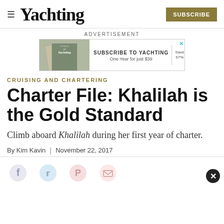Yachting — SUBSCRIBE
[Figure (screenshot): Advertisement banner for Yachting magazine subscription: Subscribe to Yachting, One Year for just $39, Save 67%]
CRUISING AND CHARTERING
Charter File: Khalilah is the Gold Standard
Climb aboard Khalilah during her first year of charter.
By Kim Kavin | November 22, 2017
[Figure (infographic): Social media sharing icons: Facebook, Twitter, Pinterest, Email]